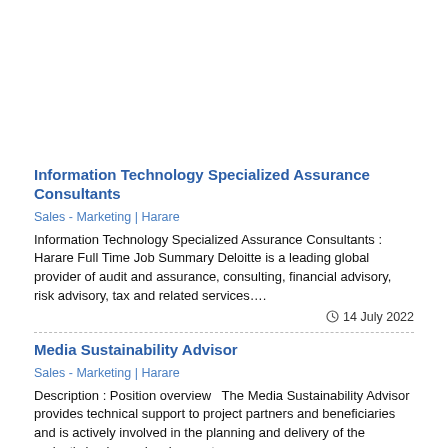Information Technology Specialized Assurance Consultants
Sales - Marketing | Harare
Information Technology Specialized Assurance Consultants : Harare Full Time Job Summary Deloitte is a leading global provider of audit and assurance, consulting, financial advisory, risk advisory, tax and related services….
14 July 2022
Media Sustainability Advisor
Sales - Marketing | Harare
Description : Position overview  The Media Sustainability Advisor provides technical support to project partners and beneficiaries and is actively involved in the planning and delivery of the project's business development…